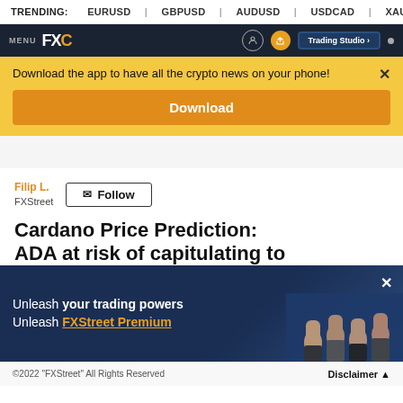TRENDING: EURUSD | GBPUSD | AUDUSD | USDCAD | XAUUSD
[Figure (screenshot): FXStreet website navigation bar with MENU label, FXC logo, and Trading Studio button]
Download the app to have all the crypto news on your phone!
Download
Filip L.
FXStreet
Follow
Cardano Price Prediction: ADA at risk of capitulating to
[Figure (illustration): FXStreet Premium promotion banner with fists raised and text: Unleash your trading powers Unleash FXStreet Premium]
©2022 "FXStreet" All Rights Reserved   Disclaimer ▲